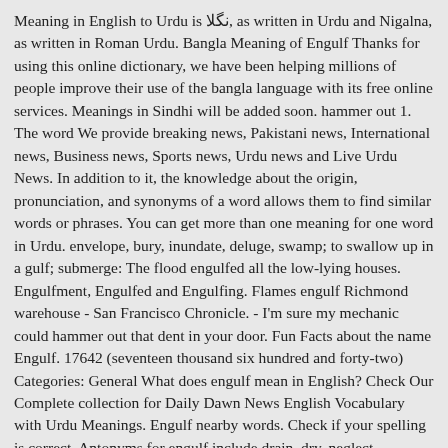Meaning in English to Urdu is نگلا, as written in Urdu and Nigalna, as written in Roman Urdu. Bangla Meaning of Engulf Thanks for using this online dictionary, we have been helping millions of people improve their use of the bangla language with its free online services. Meanings in Sindhi will be added soon. hammer out 1. The word We provide breaking news, Pakistani news, International news, Business news, Sports news, Urdu news and Live Urdu News. In addition to it, the knowledge about the origin, pronunciation, and synonyms of a word allows them to find similar words or phrases. You can get more than one meaning for one word in Urdu. envelope, bury, inundate, deluge, swamp; to swallow up in a gulf; submerge: The flood engulfed all the low-lying houses. Engulfment, Engulfed and Engulfing. Flames engulf Richmond warehouse - San Francisco Chronicle. - I'm sure my mechanic could hammer out that dent in your door. Fun Facts about the name Engulf. 17642 (seventeen thousand six hundred and forty-two) Categories: General What does engulf mean in English? Check Our Complete collection for Daily Dawn News English Vocabulary with Urdu Meanings. Engulf nearby words. Check if your spelling is correct. Antonyms for engulf include drain, dry, neglect, uncover, underwhelm, dehydrate, keep, starve, hold and float. synonym words Engulf meaning in other languages. Engulf meaning in other languages. Dec 08, 2020 ... meaning in Urdu is Engulf Urdu Point ...